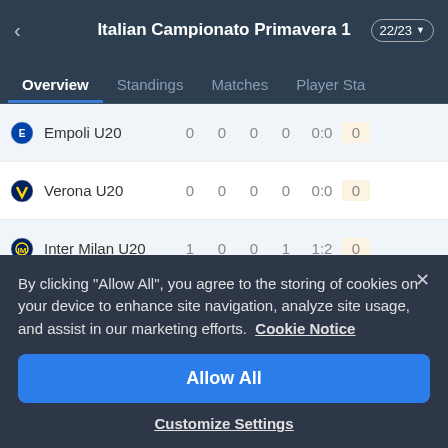Italian Campionato Primavera 1 | 22/23
Overview | Standings | Matches | Player Sta
| Team |  |  |  |  | Score | Pts |
| --- | --- | --- | --- | --- | --- | --- |
| Empoli U20 | 0 | 0 | 0 | 0 | 0:0 | 0 |
| Verona U20 | 0 | 0 | 0 | 0 | 0:0 | 0 |
| Inter Milan U20 | 1 | 0 | 0 | 1 | 1:2 | 0 |
| Cagliari U19 | 1 | 0 | 0 | 1 | 0:1 | 0 |
| AC Milan U20 | 1 | 0 | 0 | 1 | 3:5 | 0 |
By clicking "Allow All", you agree to the storing of cookies on your device to enhance site navigation, analyze site usage, and assist in our marketing efforts. Cookie Notice
Allow All
Customize Settings